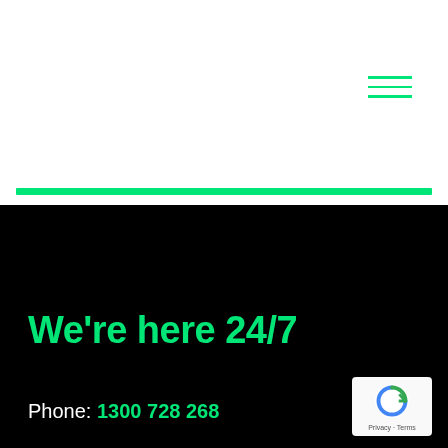[Figure (other): Navigation hamburger menu icon with three horizontal green lines in top-right area]
[Figure (other): Thick bright green horizontal banner/bar divider]
We're here 24/7
Phone: 1300 728 268
[Figure (other): Google reCAPTCHA badge with Privacy and Terms links]